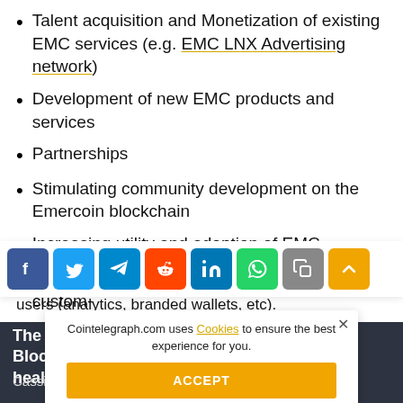Talent acquisition and Monetization of existing EMC services (e.g. EMC LNX Advertising network)
Development of new EMC products and services
Partnerships
Stimulating community development on the Emercoin blockchain
Increasing utility and adoption of EMC
Creation, implementation and support of custom-
[Figure (infographic): Social share bar with icons: Facebook, Twitter, Telegram, Reddit, LinkedIn, WhatsApp, Copy, Scroll-up]
users (analytics, branded wallets, etc).
The more the Blockchains, the healthier the industry
Cassidy also tells Cointelegraph that the main impact
Cointelegraph.com uses Cookies to ensure the best experience for you.